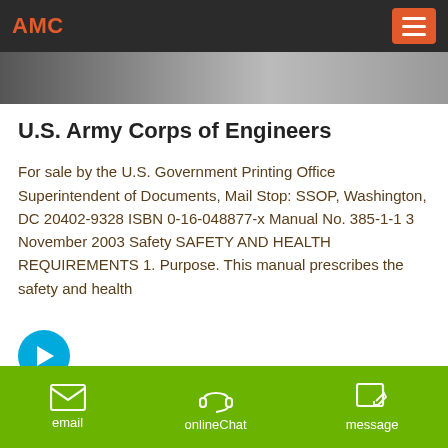AMC
[Figure (photo): Hero image strip showing a military/engineering scene, partially visible at the top of the page]
U.S. Army Corps of Engineers
For sale by the U.S. Government Printing Office Superintendent of Documents, Mail Stop: SSOP, Washington, DC 20402-9328 ISBN 0-16-048877-x Manual No. 385-1-1 3 November 2003 Safety SAFETY AND HEALTH REQUIREMENTS 1. Purpose. This manual prescribes the safety and health
[Figure (other): Circular blue button with a right-pointing arrow icon]
[Figure (other): Circular green button with a rocket/notification icon]
[Figure (photo): Bottom photo strip showing an outdoor/construction scene]
email   onlineChat   message